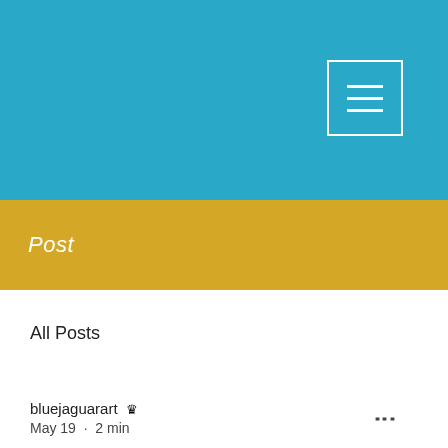[Figure (screenshot): Website header with blue watercolor background and hamburger menu icon in white square]
Post
All Posts
bluejaguarart 👑
May 19 · 2 min
CARTAGENA DE INDIAS: THE PEARL OF THE CARIBBEAN
Updated: May 24